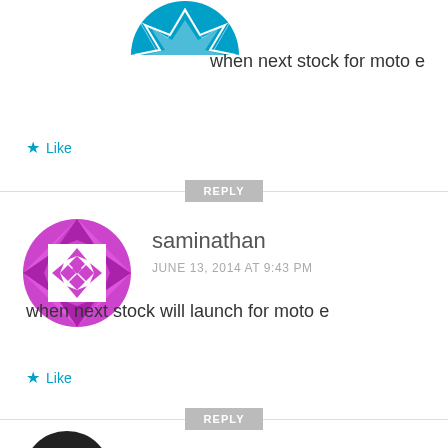[Figure (illustration): Partial avatar icon at top - geometric star/arrow pattern in teal/blue, cropped at top of page]
when next stock for moto e
★ Like
REPLY
[Figure (illustration): Avatar icon - circular geometric quilt/diamond pattern in magenta/purple]
saminathan
JUNE 13, 2014 AT 9:43 PM
when next stock will launch for moto e
★ Like
REPLY
[Figure (illustration): Partial avatar icon at bottom - dark/black circular shape, cropped at bottom of page]